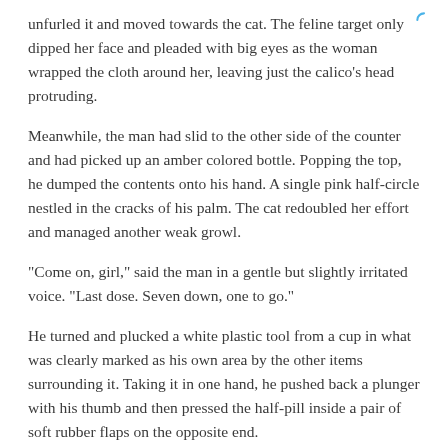unfurled it and moved towards the cat. The feline target only dipped her face and pleaded with big eyes as the woman wrapped the cloth around her, leaving just the calico’s head protruding.
Meanwhile, the man had slid to the other side of the counter and had picked up an amber colored bottle. Popping the top, he dumped the contents onto his hand. A single pink half-circle nestled in the cracks of his palm. The cat redoubled her effort and managed another weak growl.
“Come on, girl,” said the man in a gentle but slightly irritated voice. “Last dose. Seven down, one to go.”
He turned and plucked a white plastic tool from a cup in what was clearly marked as his own area by the other items surrounding it. Taking it in one hand, he pushed back a plunger with his thumb and then pressed the half-pill inside a pair of soft rubber flaps on the opposite end.